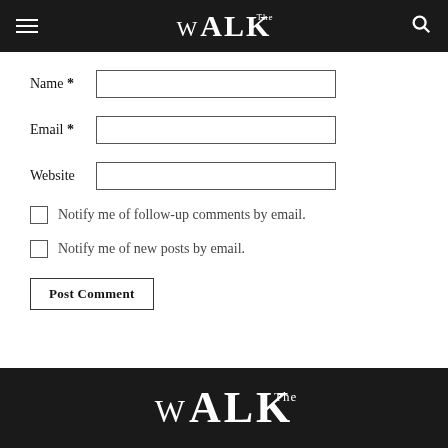The WALK — navigation bar with hamburger menu and search icon
Name *
Email *
Website
Notify me of follow-up comments by email.
Notify me of new posts by email.
Post Comment
The WALK — footer logo